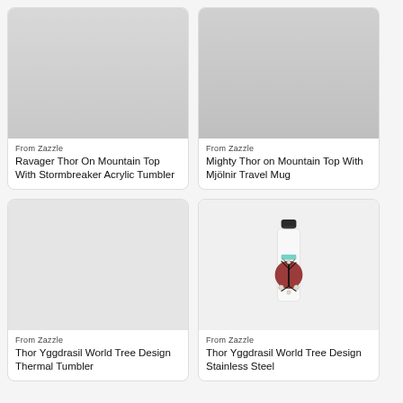[Figure (photo): Product photo of Ravager Thor On Mountain Top With Stormbreaker Acrylic Tumbler from Zazzle - white tumbler on marble surface]
From Zazzle
Ravager Thor On Mountain Top With Stormbreaker Acrylic Tumbler
[Figure (photo): Product photo of Mighty Thor on Mountain Top With Mjölnir Travel Mug from Zazzle - white mug on marble surface]
From Zazzle
Mighty Thor on Mountain Top With Mjölnir Travel Mug
[Figure (photo): Product listing area for Thor Yggdrasil World Tree Design Thermal Tumbler from Zazzle - image not visible]
From Zazzle
Thor Yggdrasil World Tree Design Thermal Tumbler
[Figure (photo): Product photo of Thor Yggdrasil World Tree Design Stainless Steel water bottle from Zazzle - white bottle with dark cap and Yggdrasil tree design]
From Zazzle
Thor Yggdrasil World Tree Design Stainless Steel